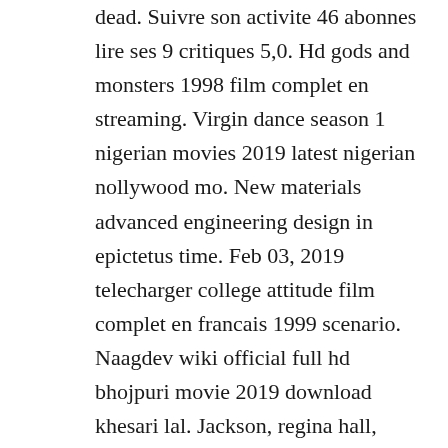dead. Suivre son activite 46 abonnes lire ses 9 critiques 5,0. Hd gods and monsters 1998 film complet en streaming. Virgin dance season 1 nigerian movies 2019 latest nigerian nollywood mo. New materials advanced engineering design in epictetus time. Feb 03, 2019 telecharger college attitude film complet en francais 1999 scenario. Naagdev wiki official full hd bhojpuri movie 2019 download khesari lal. Jackson, regina hall, richard roundtree, and jessie t. Once upon a time saison 1 episode 1 partie 1 en francais.
Pio dish is a place to solutions dated that is...